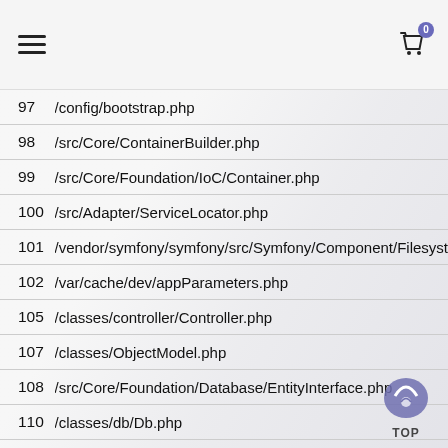≡ [hamburger menu] [cart icon with badge 0]
| # | Path |
| --- | --- |
| 97 | /config/bootstrap.php |
| 98 | /src/Core/ContainerBuilder.php |
| 99 | /src/Core/Foundation/IoC/Container.php |
| 100 | /src/Adapter/ServiceLocator.php |
| 101 | /vendor/symfony/symfony/src/Symfony/Component/Filesyst |
| 102 | /var/cache/dev/appParameters.php |
| 105 | /classes/controller/Controller.php |
| 107 | /classes/ObjectModel.php |
| 108 | /src/Core/Foundation/Database/EntityInterface.php |
| 110 | /classes/db/Db.php |
| 112 | /classes/Hook.php |
| 114 | /classes/module/Module.php |